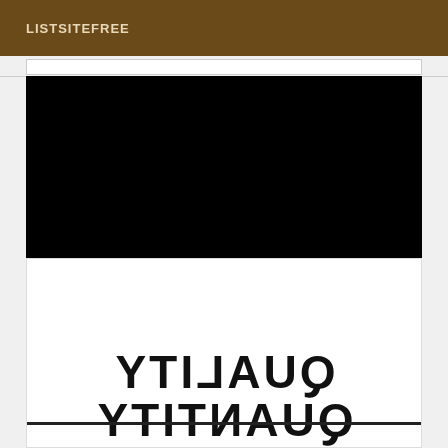LISTSITEFREE
[Figure (other): Large black rectangle filling the upper content area, appears to be a placeholder or redacted image region on a website screenshot]
[Figure (other): White card section showing mirrored/reversed text reading QUALITY on first line and QUANTITY on second line (displayed as mirror image). The QUANTITY text has a strikethrough line across it.]